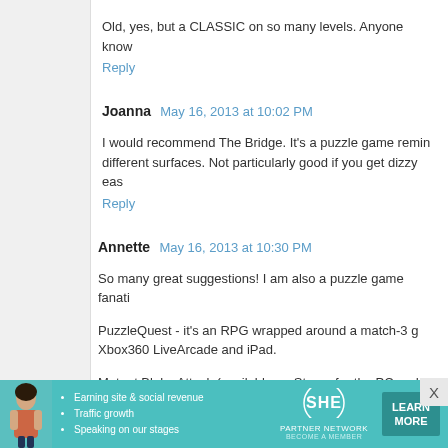Old, yes, but a CLASSIC on so many levels. Anyone know
Reply
Joanna  May 16, 2013 at 10:02 PM
I would recommend The Bridge. It's a puzzle game remin different surfaces. Not particularly good if you get dizzy eas
Reply
Annette  May 16, 2013 at 10:30 PM
So many great suggestions! I am also a puzzle game fanati
PuzzleQuest - it's an RPG wrapped around a match-3 g Xbox360 LiveArcade and iPad.
Mutant Blobs Attack (available on Steam for the PC and PS
IMO, one of the all time best puzzlers is Microsoft's Pando current versions of Windows :(
Reply
[Figure (infographic): SHE Partner Network advertisement banner with photo of woman, bullet points about earning site & social revenue, traffic growth, speaking on our stages, SHE logo, and LEARN MORE button]